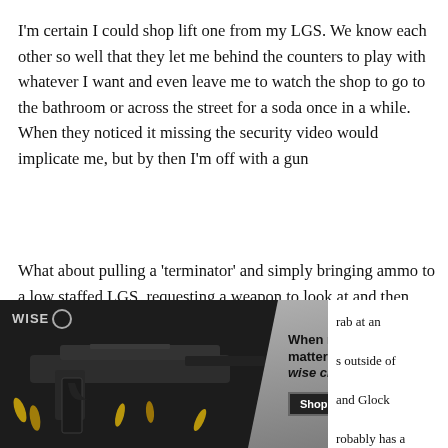I'm certain I could shop lift one from my LGS. We know each other so well that they let me behind the counters to play with whatever I want and even leave me to watch the shop to go to the bathroom or across the street for a soda once in a while. When they noticed it missing the security video would implicate me, but by then I'm off with a gun
What about pulling a 'terminator' and simply bringing ammo to a low staffed LGS, requesting a weapon to look at and then charging it and using it to complete a robbery?
[Figure (photo): Advertisement image showing a firearm with ammunition on a dark background. WISE logo in top left. Overlaid ad text reads: 'When reliability matters, make the wise choice. Shop Dealers' on a grey diagonal panel. Right side partially visible text fragments: 'rab at an', 's outside of', 'and Glock', 'robably has a']